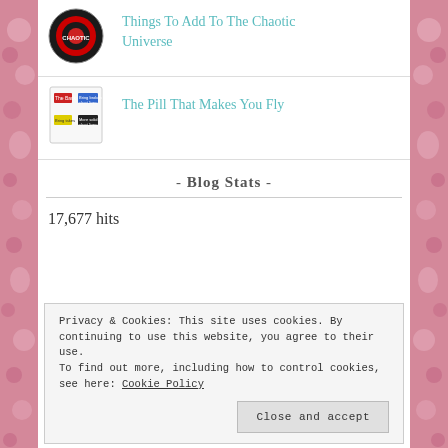Things To Add To The Chaotic Universe
The Pill That Makes You Fly
- Blog Stats -
17,677 hits
Privacy & Cookies: This site uses cookies. By continuing to use this website, you agree to their use.
To find out more, including how to control cookies, see here: Cookie Policy